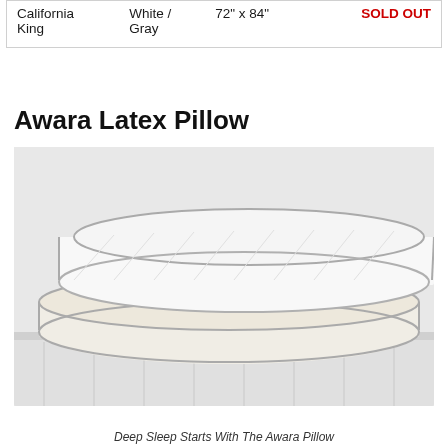|  |  |  |  |
| --- | --- | --- | --- |
| California King | White / Gray | 72" x 84" | SOLD OUT |
Awara Latex Pillow
[Figure (photo): Two white latex pillows stacked on top of each other on a white mattress surface, with gray piping around the edges.]
Deep Sleep Starts With The Awara Pillow